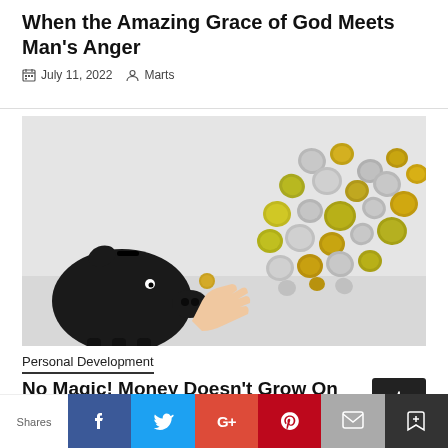When the Amazing Grace of God Meets Man's Anger
July 11, 2022   Marts
[Figure (photo): A hand inserting a coin into a black piggy bank, with many coins scattered above in a diagonal arrangement on a light gray background.]
Personal Development
No Magic! Money Doesn't Grow On
Shares  Facebook  Twitter  Google+  Pinterest  Email  Bookmark